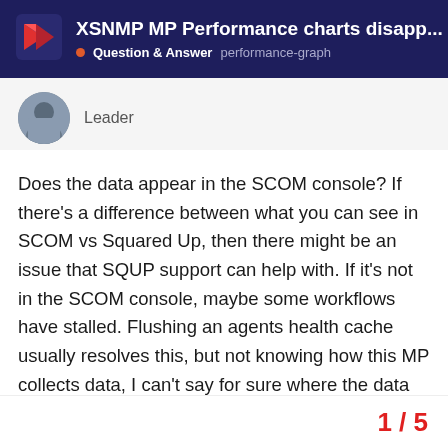XSNMP MP Performance charts disapp... • Question & Answer  performance-graph
Leader
Does the data appear in the SCOM console? If there's a difference between what you can see in SCOM vs Squared Up, then there might be an issue that SQUP support can help with. If it's not in the SCOM console, maybe some workflows have stalled. Flushing an agents health cache usually resolves this, but not knowing how this MP collects data, I can't say for sure where the data would be flushed from.
1 / 5